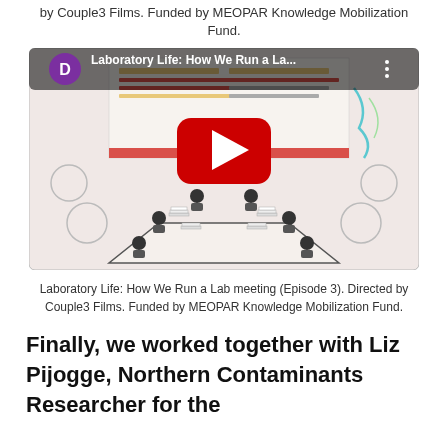by Couple3 Films. Funded by MEOPAR Knowledge Mobilization Fund.
[Figure (screenshot): YouTube video thumbnail showing 'Laboratory Life: How We Run a La...' with a purple D avatar, three-dot menu, and a red play button over an animated conference room scene with seated figures around a table and a whiteboard display in the background.]
Laboratory Life: How We Run a Lab meeting (Episode 3). Directed by Couple3 Films. Funded by MEOPAR Knowledge Mobilization Fund.
Finally, we worked together with Liz Pijogge, Northern Contaminants Researcher for the